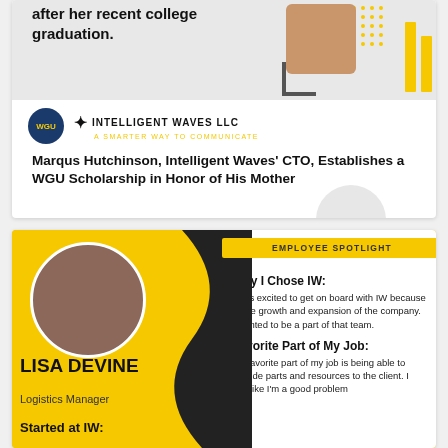[Figure (infographic): Top card with WGU and Intelligent Waves LLC logos, photo placeholder, yellow bar decorations, dot grid, and gray background strip]
Marqus Hutchinson, Intelligent Waves' CTO, Establishes a WGU Scholarship in Honor of His Mother
[Figure (infographic): Employee Spotlight card for Lisa Devine, Logistics Manager at IW. Yellow background with black wave shape, circular profile photo, name, title, and Started at IW label on left. Right side: Employee Spotlight badge, Why I Chose IW section, Favorite Part of My Job section.]
Why I Chose IW: I was excited to get on board with IW because of the growth and expansion of the company. I wanted to be a part of that team.
Favorite Part of My Job: My favorite part of my job is being able to provide parts and resources to the client. I feel like I'm a good problem